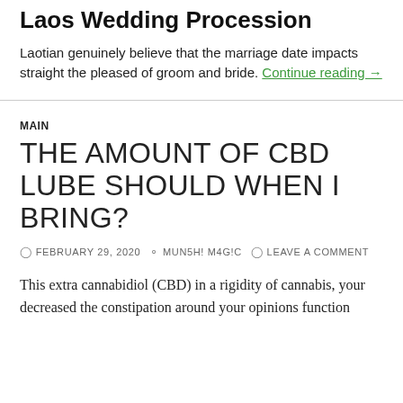Laos Wedding Procession
Laotian genuinely believe that the marriage date impacts straight the pleased of groom and bride. Continue reading →
MAIN
THE AMOUNT OF CBD LUBE SHOULD WHEN I BRING?
FEBRUARY 29, 2020   MUN5H! M4G!C   LEAVE A COMMENT
This extra cannabidiol (CBD) in a rigidity of cannabis, your decreased the constipation around your opinions function